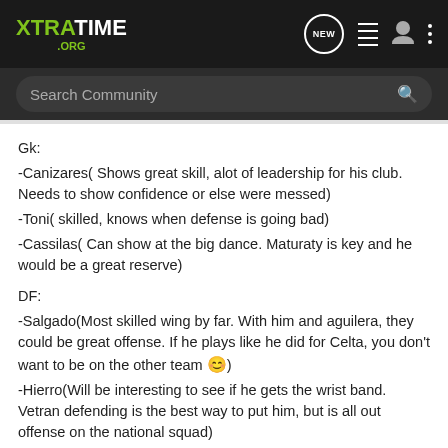XTRATIME .ORG — navigation header with NEW, list, user, and menu icons
Search Community
Gk:
-Canizares( Shows great skill, alot of leadership for his club. Needs to show confidence or else were messed)
-Toni( skilled, knows when defense is going bad)
-Cassilas( Can show at the big dance. Maturaty is key and he would be a great reserve)
DF:
-Salgado(Most skilled wing by far. With him and aguilera, they could be great offense. If he plays like he did for Celta, you don't want to be on the other team 😊)
-Hierro(Will be interesting to see if he gets the wrist band. Vetran defending is the best way to put him, but is all out offense on the national squad)